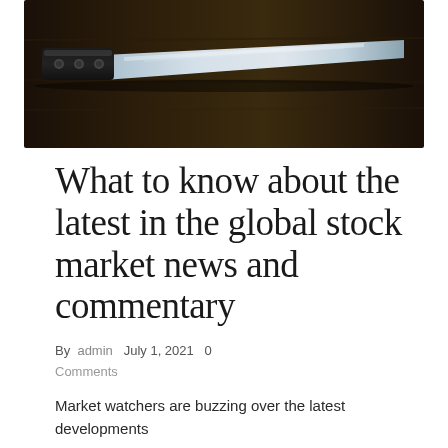[Figure (photo): A kitchen knife with a black handle resting on a dark wooden surface, photographed in dramatic lighting with the blade visible against a dark background.]
What to know about the latest in the global stock market news and commentary
By admin  July 1, 2021  0 Comments
Market watchers are buzzing over the latest developments